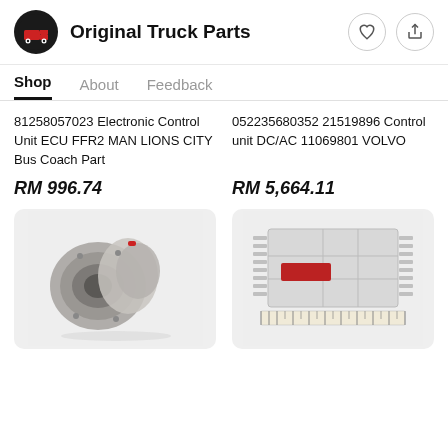Original Truck Parts
Shop   About   Feedback
81258057023 Electronic Control Unit ECU FFR2 MAN LIONS CITY Bus Coach Part
052235680352 21519896 Control unit DC/AC 11069801 VOLVO
RM 996.74
RM 5,664.11
[Figure (photo): Photo of an automotive transmission/gearbox component, metallic, used truck part]
[Figure (photo): Photo of a rectangular electronic control unit module with wiring connectors and a red label sticker, with a ruler below it]